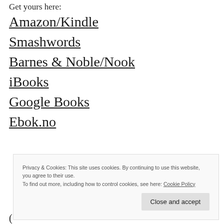Get yours here:
Amazon/Kindle
Smashwords
Barnes & Noble/Nook
iBooks
Google Books
Ebok.no
Privacy & Cookies: This site uses cookies. By continuing to use this website, you agree to their use.
To find out more, including how to control cookies, see here: Cookie Policy
Close and accept